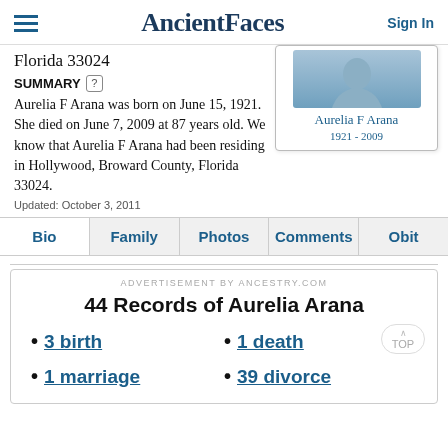AncientFaces  Sign In
Florida 33024
SUMMARY
Aurelia F Arana was born on June 15, 1921. She died on June 7, 2009 at 87 years old. We know that Aurelia F Arana had been residing in Hollywood, Broward County, Florida 33024.
Updated: October 3, 2011
[Figure (other): Profile card for Aurelia F Arana showing silhouette photo, name, and years 1921-2009]
| Bio | Family | Photos | Comments | Obit |
ADVERTISEMENT BY ANCESTRY.COM
44 Records of Aurelia Arana
3 birth
1 death
1 marriage
39 divorce